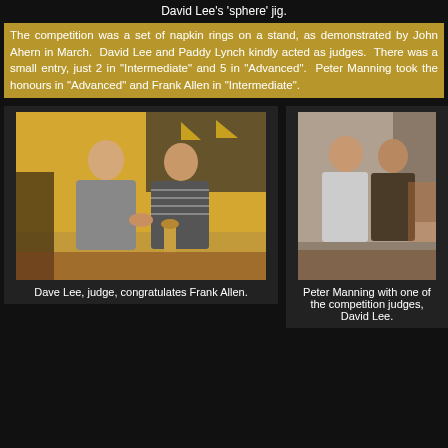David Lee's 'sphere' jig.
The competition was a set of napkin rings on a stand, as demonstrated by John Ahern in March.  David Lee and Paddy Lynch kindly acted as judges.  There was a small entry, just 2 in "Intermediate" and 5 in "Advanced".  Peter Manning took the honours in "Advanced" and Frank Allen in "Intermediate".
[Figure (photo): Dave Lee (judge) shaking hands and congratulating Frank Allen, who holds a turned wooden object.]
Dave Lee, judge, congratulates Frank Allen.
[Figure (photo): Peter Manning standing with one of the competition judges, David Lee.]
Peter Manning with one of the competition judges, David Lee.